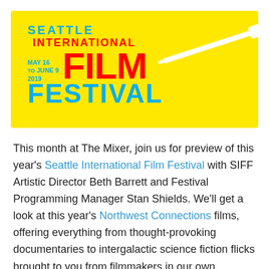[Figure (logo): Seattle International Film Festival logo on yellow background with red and blue text, dates May 16 to June 9 2019, spatula graphic and white ellipse bubble]
This month at The Mixer, join us for preview of this year's Seattle International Film Festival with SIFF Artistic Director Beth Barrett and Festival Programming Manager Stan Shields. We'll get a look at this year's Northwest Connections films, offering everything from thought-provoking documentaries to intergalactic science fiction flicks brought to you from filmmakers in our own backyard. We'll also get a sneak peek at the New Works-in-Progress Forum, which brings selected audience members into the